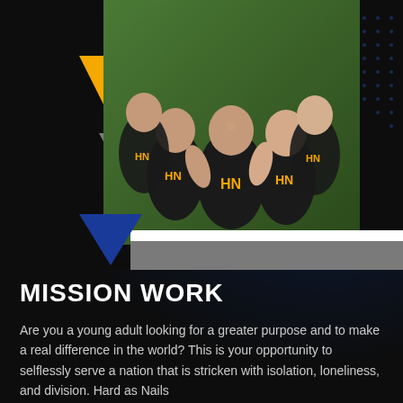[Figure (photo): Group photo of young adults wearing black 'HN' t-shirts with yellow lettering, hugging and smiling outdoors on grass. Decorative geometric shapes (yellow triangle, gray triangle, blue triangle) and white/gray horizontal bars surround the photo.]
MISSION WORK
Are you a young adult looking for a greater purpose and to make a real difference in the world? This is your opportunity to selflessly serve a nation that is stricken with isolation, loneliness, and division. Hard as Nails